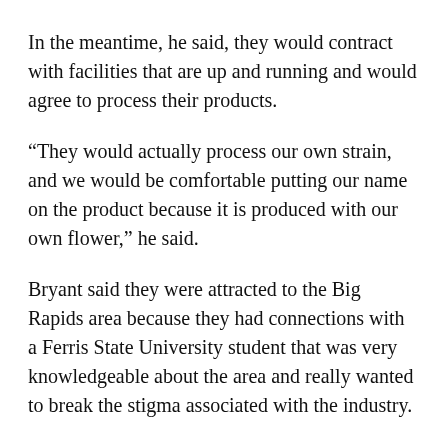In the meantime, he said, they would contract with facilities that are up and running and would agree to process their products.
“They would actually process our own strain, and we would be comfortable putting our name on the product because it is produced with our own flower,” he said.
Bryant said they were attracted to the Big Rapids area because they had connections with a Ferris State University student that was very knowledgeable about the area and really wanted to break the stigma associated with the industry.